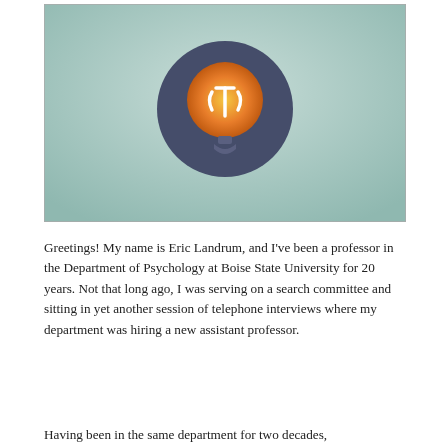[Figure (illustration): A stylized illustration on a mint/sage green gradient background showing a dark navy circle containing an orange/yellow glowing lightbulb with a psi (psychology) symbol inside it, and a small grey base below the bulb.]
Greetings! My name is Eric Landrum, and I've been a professor in the Department of Psychology at Boise State University for 20 years. Not that long ago, I was serving on a search committee and sitting in yet another session of telephone interviews where my department was hiring a new assistant professor.
Having been in the same department for two decades,